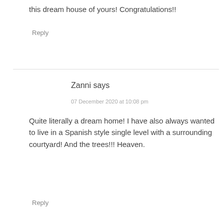this dream house of yours! Congratulations!!
Reply
Zanni says
07 December 2020 at 10:08 pm
Quite literally a dream home! I have also always wanted to live in a Spanish style single level with a surrounding courtyard! And the trees!!! Heaven.
Reply